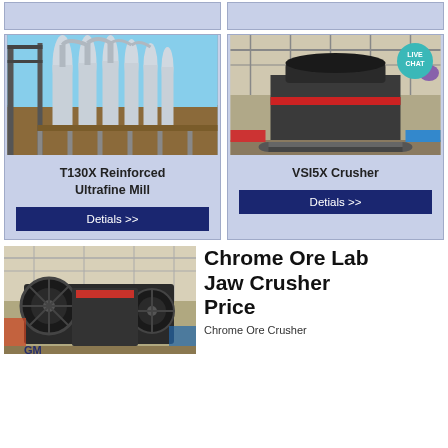[Figure (photo): Top strip placeholder cells (two light blue cells)]
[Figure (photo): Industrial milling machines with pipes and conveyors in a factory — T130X Reinforced Ultrafine Mill]
T130X Reinforced Ultrafine Mill
Detials >>
[Figure (photo): VSI5X Crusher industrial machine in a factory floor with LIVE CHAT badge overlay]
VSI5X Crusher
Detials >>
[Figure (photo): Chrome Ore Lab Jaw Crusher machine on factory floor]
Chrome Ore Lab Jaw Crusher Price
Chrome Ore Crusher